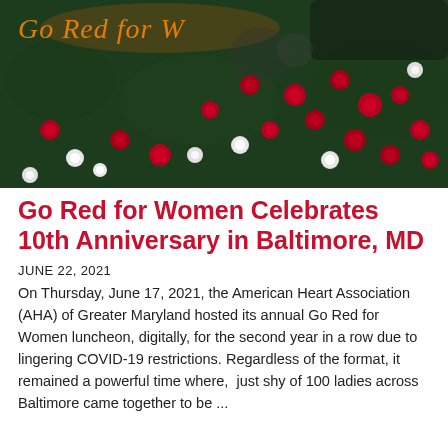[Figure (photo): Photo of a floral wall display with red and white roses on a dark green backdrop, with an orange neon sign reading 'Go Red for Women' partially visible at the top.]
Go Red for Women Celebrates 10th Anniversary in Baltimore, MD
JUNE 22, 2021
On Thursday, June 17, 2021, the American Heart Association (AHA) of Greater Maryland hosted its annual Go Red for Women luncheon, digitally, for the second year in a row due to lingering COVID-19 restrictions. Regardless of the format, it remained a powerful time where,  just shy of 100 ladies across Baltimore came together to be ...